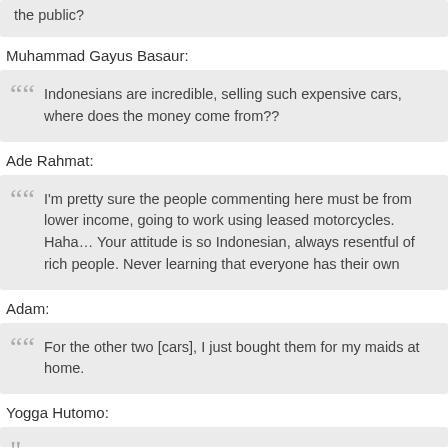the public?
Muhammad Gayus Basaur:
Indonesians are incredible, selling such expensive cars, where does the money come from??
Ade Rahmat:
I'm pretty sure the people commenting here must be from lower income, going to work using leased motorcycles. Haha… Your attitude is so Indonesian, always resentful of rich people. Never learning that everyone has their own
Adam:
For the other two [cars], I just bought them for my maids at home.
Yogga Hutomo: